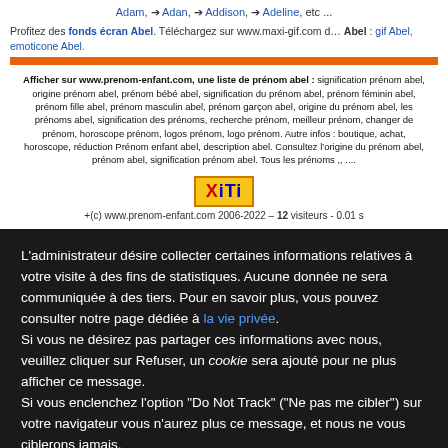Adam, ➔ Adan, ➔ Addison, ➔ Adeline, etc ...
Profitez des fonds écran Abel. Téléchargez sur www.maxi-gif.com d… Abel : gif Abel, emoticone Abel.
Afficher sur www.prenom-enfant.com, une liste de prénom abel : signification prénom abel, origine prénom abel, prénom bébé abel, signification du prénom abel, prénom féminin abel, prénom fille abel, prénom masculin abel, prénom garçon abel, origine du prénom abel, les prénoms abel, signification des prénoms, recherche prénom, meilleur prénom, changer de prénom, horoscope prénom, logos prénom, logo prénom. Autre infos : boutique, achat, horoscope, réduction Prénom enfant abel, description abel. Consultez l'origine du prénom abel, prénom abel, signification prénom abel. Tous les prénoms ,, ....
[Figure (logo): XiTi logo button - yellow/orange background with red X, blue iTi text]
+(c) www.prenom-enfant.com 2006-2022 – 12 visiteurs - 0.01 s
L'administrateur désire collecter certaines informations relatives à votre visite à des fins de statistiques. Aucune donnée ne sera communiquée à des tiers. Pour en savoir plus, vous pouvez consulter notre page dédiée à la vie privée. Si vous ne désirez pas partager ces informations avec nous, veuillez cliquer sur Refuser, un cookie sera ajouté pour ne plus afficher ce message. Si vous enclenchez l'option "Do Not Track" ("Ne pas me cibler") sur votre navigateur vous n'aurez plus ce message, et nous ne vous ciblerons jamais.